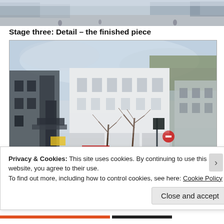[Figure (photo): Top cropped image strip showing a street scene painting, partial view]
Stage three: Detail – the finished piece
[Figure (illustration): Watercolour painting of a busy town high street with historic buildings, bare winter trees, pedestrians, and a bus. People walking on a wide pavement. The style is loose impressionistic watercolour.]
Privacy & Cookies: This site uses cookies. By continuing to use this website, you agree to their use.
To find out more, including how to control cookies, see here: Cookie Policy
Close and accept